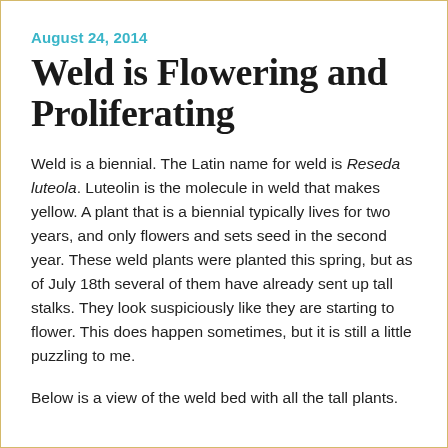August 24, 2014
Weld is Flowering and Proliferating
Weld is a biennial. The Latin name for weld is Reseda luteola. Luteolin is the molecule in weld that makes yellow. A plant that is a biennial typically lives for two years, and only flowers and sets seed in the second year. These weld plants were planted this spring, but as of July 18th several of them have already sent up tall stalks. They look suspiciously like they are starting to flower. This does happen sometimes, but it is still a little puzzling to me.
Below is a view of the weld bed with all the tall plants.